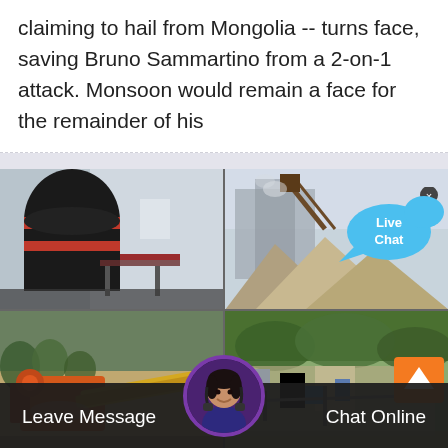claiming to hail from Mongolia -- turns face, saving Bruno Sammartino from a 2-on-1 attack. Monsoon would remain a face for the remainder of his
[Figure (photo): 2x2 grid of industrial mining/crushing equipment photos. Top-left: large black industrial mill/grinder machine with red bands and metal stairs. Top-right: outdoor quarry/mining site with conveyor structures and piled gravel. Bottom-left: orange jaw crusher equipment in quarry. Bottom-right: aerial view of mining processing facility near trees.]
[Figure (infographic): Live Chat speech bubble UI element in blue, with close (x) button in dark circle, positioned over top-right of image grid.]
[Figure (infographic): Orange scroll-to-top arrow button at bottom-right of image section.]
[Figure (photo): Customer service representative avatar (woman with headset) in circular frame with purple border, centered in bottom bar.]
Leave Message    Chat Online